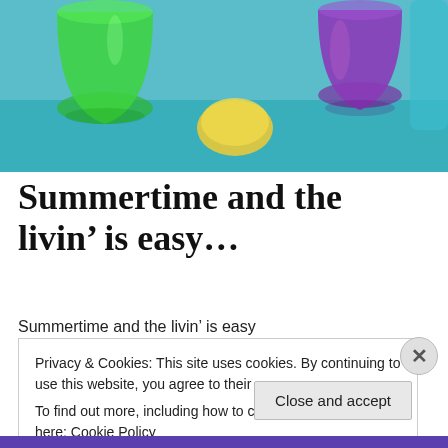[Figure (photo): Photo of colorful drinking glasses (green, purple) and a lemon on a teal/blue surface]
Summertime and the livin' is easy…
Summertime and the livin' is easy
Privacy & Cookies: This site uses cookies. By continuing to use this website, you agree to their use.
To find out more, including how to control cookies, see here: Cookie Policy
Close and accept